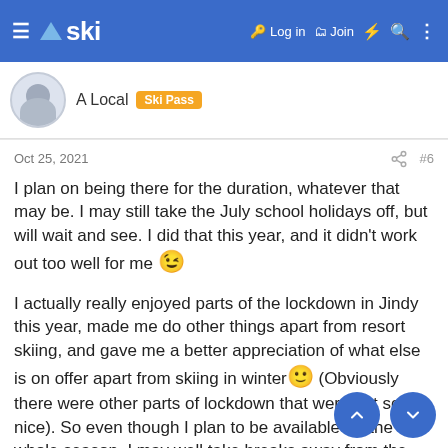ski — Log in  Join
A Local  Ski Pass
Oct 25, 2021  #6
I plan on being there for the duration, whatever that may be. I may still take the July school holidays off, but will wait and see. I did that this year, and it didn't work out too well for me 😉
I actually really enjoyed parts of the lockdown in Jindy this year, made me do other things apart from resort skiing, and gave me a better appreciation of what else is on offer apart from skiing in winter🙂 (Obviously there were other parts of lockdown that were not so nice). So even though I plan to be available for the whole season, I may well take breaks away from the lifts to do other stuff, depending on how things are panning out.